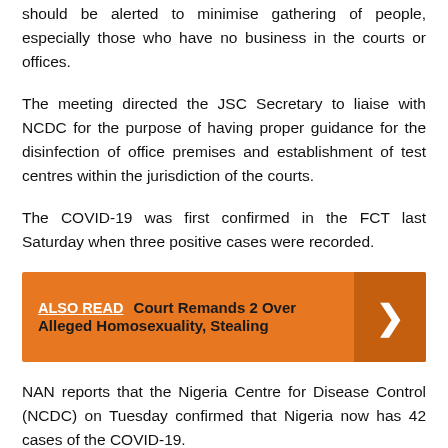should be alerted to minimise gathering of people, especially those who have no business in the courts or offices.
The meeting directed the JSC Secretary to liaise with NCDC for the purpose of having proper guidance for the disinfection of office premises and establishment of test centres within the jurisdiction of the courts.
The COVID-19 was first confirmed in the FCT last Saturday when three positive cases were recorded.
[Figure (infographic): Orange 'ALSO READ' banner with text: 'Court Remands 2 Over Alleged Homosexuality, Stealing' and an arrow chevron on the right side.]
NAN reports that the Nigeria Centre for Disease Control (NCDC) on Tuesday confirmed that Nigeria now has 42 cases of the COVID-19.